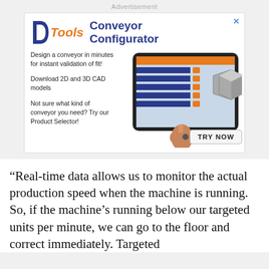Advertisement
[Figure (illustration): DTools Conveyor Configurator advertisement showing a tablet with conveyor configuration software and a hand pointing at it, with text about designing a conveyor, downloading CAD models, and a TRY NOW button.]
“Real-time data allows us to monitor the actual production speed when the machine is running. So, if the machine’s running below our targeted units per minute, we can go to the floor and correct immediately. Targeted